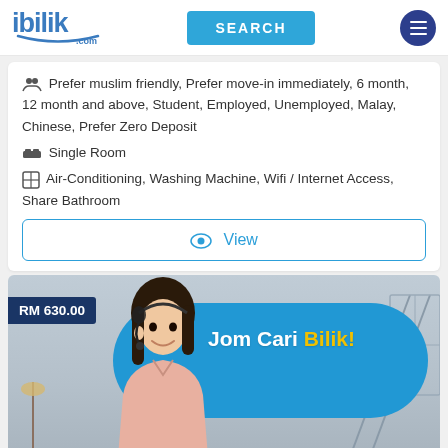ibiblik.com — SEARCH
Prefer muslim friendly, Prefer move-in immediately, 6 month, 12 month and above, Student, Employed, Unemployed, Malay, Chinese, Prefer Zero Deposit
Single Room
Air-Conditioning, Washing Machine, Wifi / Internet Access, Share Bathroom
View
[Figure (screenshot): iBilik.com advertisement banner showing 'Jom Cari Bilik!' with a customer service representative and a room background. Price tag shows RM 630.00]